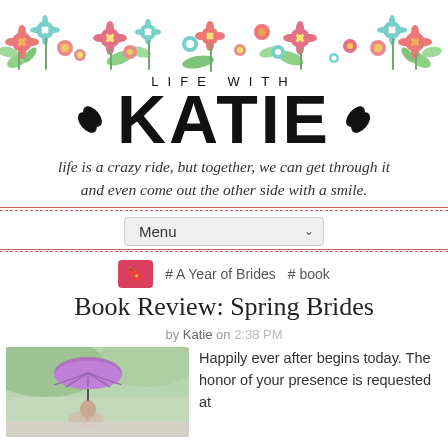[Figure (illustration): Decorative floral banner with colorful flowers (red, pink, teal, green) and leaves across the top of the page]
LIFE WITH KATIE
life is a crazy ride, but together, we can get through it and even come out the other side with a smile.
Menu
# A Year of Brides   # book
Book Review: Spring Brides
by Katie  on  2:38 PM
[Figure (photo): Person holding a purple umbrella outdoors]
Happily ever after begins today. The honor of your presence is requested at